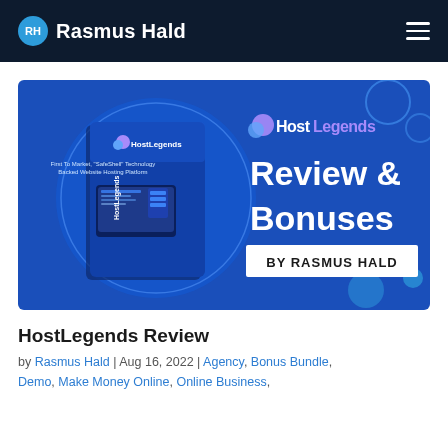RH Rasmus Hald
[Figure (illustration): HostLegends Review & Bonuses banner by Rasmus Hald. Blue background with HostLegends product box on the left and text 'Review & Bonuses BY RASMUS HALD' on the right.]
HostLegends Review
by Rasmus Hald | Aug 16, 2022 | Agency, Bonus Bundle, Demo, Make Money Online, Online Business,